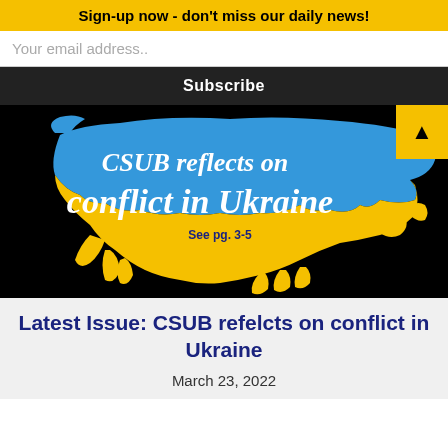Sign-up now - don't miss our daily news!
Your email address..
Subscribe
[Figure (illustration): Map of Ukraine in blue and yellow colors on black background with text 'CSUB reflects on conflict in Ukraine' and 'See pg. 3-5']
Latest Issue: CSUB refelcts on conflict in Ukraine
March 23, 2022